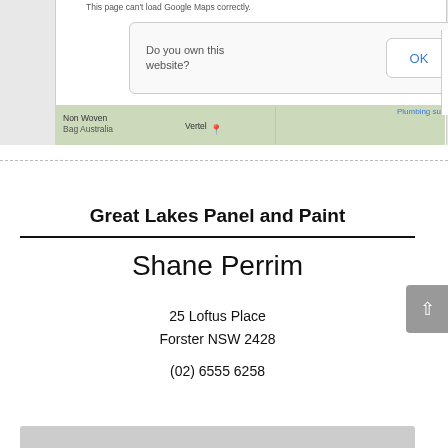[Figure (screenshot): Google Maps screenshot with a dialog box asking 'Do you own this website?' with an OK button. Background shows a map with labels: Non Woven, Vertel, Plumbing su]
Great Lakes Panel and Paint
Shane Perrim
25 Loftus Place
Forster NSW 2428
(02) 6555 6258